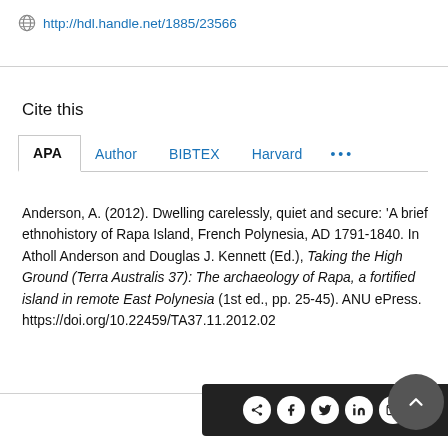http://hdl.handle.net/1885/23566
Cite this
APA | Author | BIBTEX | Harvard | ...
Anderson, A. (2012). Dwelling carelessly, quiet and secure: 'A brief ethnohistory of Rapa Island, French Polynesia, AD 1791-1840. In Atholl Anderson and Douglas J. Kennett (Ed.), Taking the High Ground (Terra Australis 37): The archaeology of Rapa, a fortified island in remote East Polynesia (1st ed., pp. 25-45). ANU ePress. https://doi.org/10.22459/TA37.11.2012.02
[Figure (other): Social sharing bar with icons for share, Facebook, Twitter, LinkedIn, Email, and a scroll-to-top button]